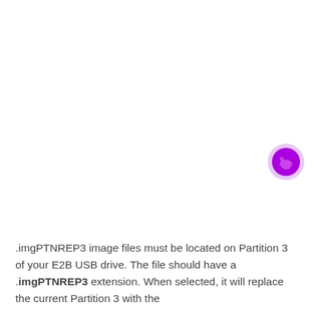[Figure (illustration): A purple/violet circular chat bubble icon with a light lavender ring around it, positioned in the upper-right area of the page.]
.imgPTNREP3 image files must be located on Partition 3 of your E2B USB drive. The file should have a .imgPTNREP3 extension. When selected, it will replace the current Partition 3 with the